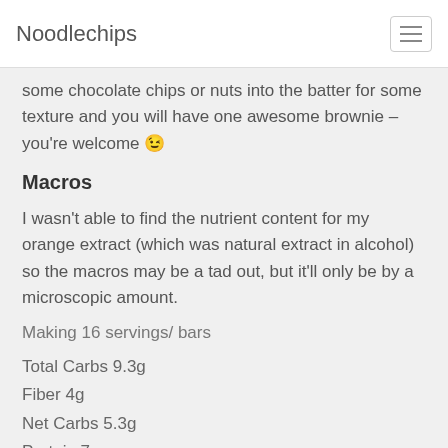Noodlechips
some chocolate chips or nuts into the batter for some texture and you will have one awesome brownie – you're welcome 😉
Macros
I wasn't able to find the nutrient content for my orange extract (which was natural extract in alcohol) so the macros may be a tad out, but it'll only be by a microscopic amount.
Making 16 servings/ bars
Total Carbs 9.3g
Fiber 4g
Net Carbs 5.3g
Protein 7g
Fat 29g